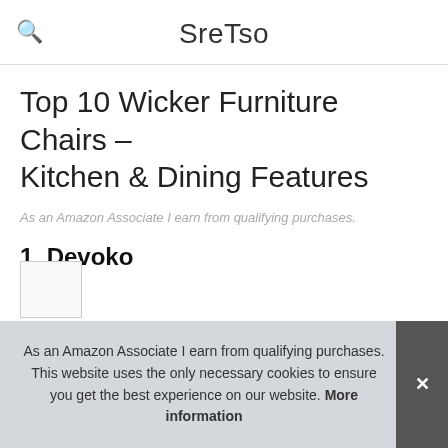SreTso
Top 10 Wicker Furniture Chairs – Kitchen & Dining Features
As an Amazon Associate I earn from qualifying purchases.
1. Devoko
#ad
As an Amazon Associate I earn from qualifying purchases. This website uses the only necessary cookies to ensure you get the best experience on our website. More information